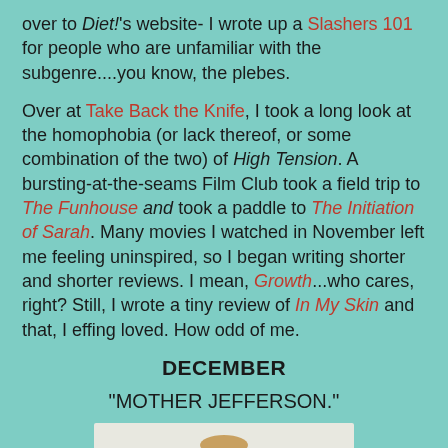over to Diet!'s website- I wrote up a Slashers 101 for people who are unfamiliar with the subgenre....you know, the plebes.
Over at Take Back the Knife, I took a long look at the homophobia (or lack thereof, or some combination of the two) of High Tension. A bursting-at-the-seams Film Club took a field trip to The Funhouse and took a paddle to The Initiation of Sarah. Many movies I watched in November left me feeling uninspired, so I began writing shorter and shorter reviews. I mean, Growth...who cares, right? Still, I wrote a tiny review of In My Skin and that, I effing loved. How odd of me.
DECEMBER
"MOTHER JEFFERSON."
[Figure (photo): A person wearing large glasses and a hat, smiling, shown from the torso up against a light background.]